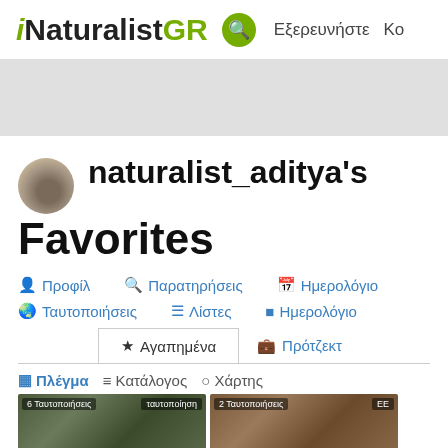iNaturalistGR  Εξερευνήστε
naturalist_aditya's Favorites
Προφίλ
Παρατηρήσεις
Ημερολόγιο
Ταυτοποιήσεις
Λίστες
Ημερολόγιο
Αγαπημένα
Πρότζεκτ
Πλέγμα  Κατάλογος  Χάρτης
[Figure (photo): Two nature observation thumbnail photos at the bottom of the page]
6 Ταυτοποιήσεις  ταυτοποιήμ    2 Ταυτοποιήσεις  ΕΕ